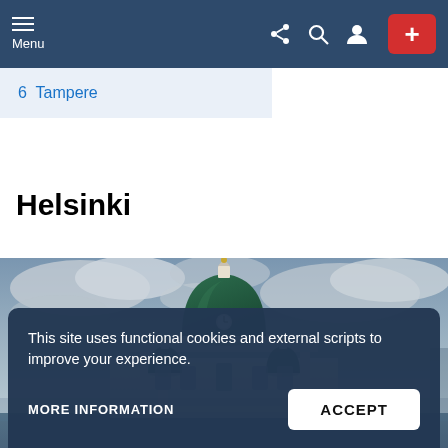Menu | Share | Search | Profile | +
6  Tampere
Helsinki
[Figure (photo): Helsinki Cathedral with green dome against cloudy sky, white neoclassical architecture visible, waterfront setting]
This site uses functional cookies and external scripts to improve your experience.
MORE INFORMATION
ACCEPT